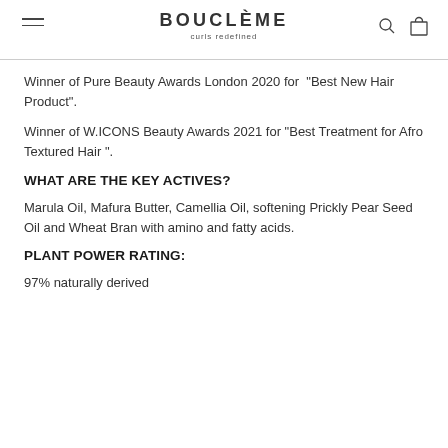BOUCLÈME curls redefined
Winner of Pure Beauty Awards London 2020 for “Best New Hair Product”.
Winner of W.ICONS Beauty Awards 2021 for “Best Treatment for Afro Textured Hair ”.
WHAT ARE THE KEY ACTIVES?
Marula Oil, Mafura Butter, Camellia Oil, softening Prickly Pear Seed Oil and Wheat Bran with amino and fatty acids.
PLANT POWER RATING:
97% naturally derived